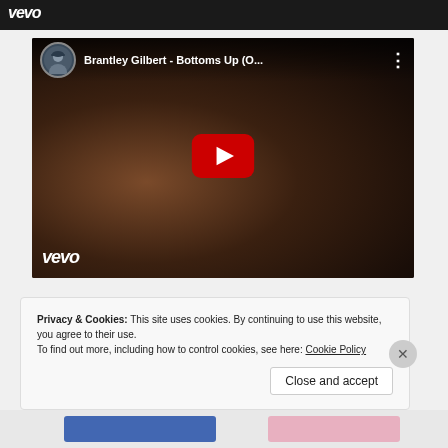[Figure (screenshot): Top partial strip showing Vevo logo on dark background]
[Figure (screenshot): YouTube embedded video thumbnail for Brantley Gilbert - Bottoms Up (O...) with play button, Vevo branding, and channel icon]
Privacy & Cookies: This site uses cookies. By continuing to use this website, you agree to their use.
To find out more, including how to control cookies, see here: Cookie Policy
Close and accept